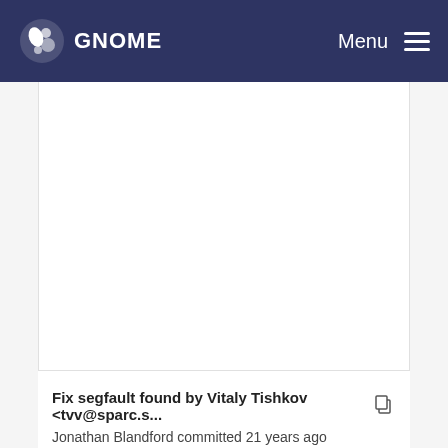GNOME Menu
Fix segfault found by Vitaly Tishkov <tvv@sparc.s... — Jonathan Blandford committed 21 years ago
s/GdkPixmapClass/GdkPixmapObjectClass/. (#518... — Owen Taylor committed 21 years ago